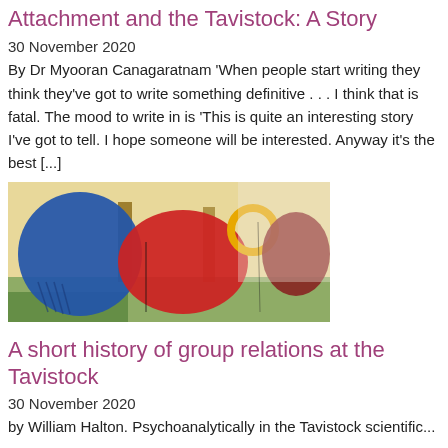Attachment and the Tavistock: A Story
30 November 2020
By Dr Myooran Canagaratnam 'When people start writing they think they've got to write something definitive . . . I think that is fatal. The mood to write in is 'This is quite an interesting story I've got to tell. I hope someone will be interested. Anyway it's the best [...]
[Figure (illustration): Abstract painting with large blue circle on left, large red oval in center, yellow ring and dark red oval on right, on a yellow-brown background with green at bottom]
A short history of group relations at the Tavistock
30 November 2020
by William Halton. Psychoanalytically in the Tavistock scientific...